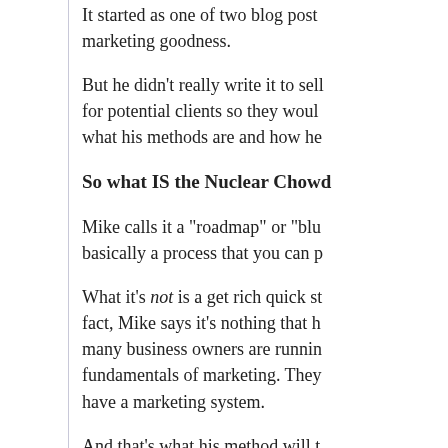It started as one of two blog posts... marketing goodness.
But he didn't really write it to sell... for potential clients so they would... what his methods are and how he...
So what IS the Nuclear Chowd...
Mike calls it a "roadmap" or "blu... basically a process that you can p...
What it's not is a get rich quick st... fact, Mike says it's nothing that h... many business owners are runnin... fundamentals of marketing. They... have a marketing system.
And that's what his method will t...
Mike doesn't talk in abstractions o...